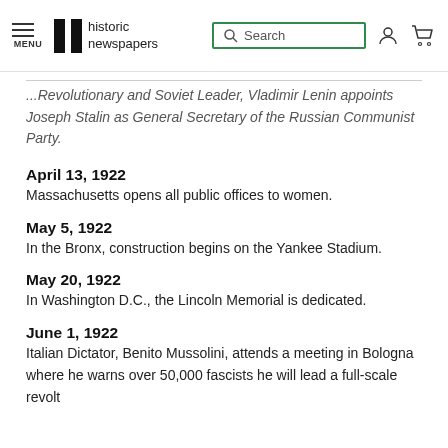MENU | historic newspapers | Search
...Russian Revolutionary and Soviet Leader, Vladimir Lenin appoints Joseph Stalin as General Secretary of the Russian Communist Party.
April 13, 1922
Massachusetts opens all public offices to women.
May 5, 1922
In the Bronx, construction begins on the Yankee Stadium.
May 20, 1922
In Washington D.C., the Lincoln Memorial is dedicated.
June 1, 1922
Italian Dictator, Benito Mussolini, attends a meeting in Bologna where he warns over 50,000 fascists he will lead a full-scale revolt